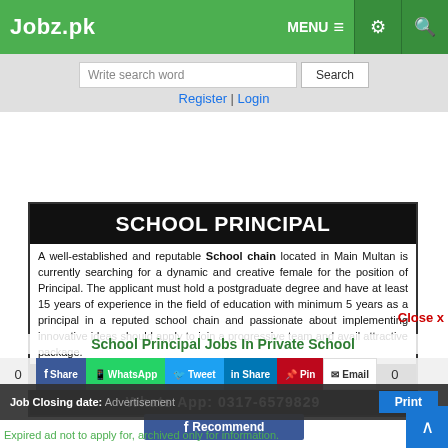Jobz.pk  MENU  [settings icon] [search icon]
Write search word  Search
Register | Login
SCHOOL PRINCIPAL
A well-established and reputable School chain located in Main Multan is currently searching for a dynamic and creative female for the position of Principal. The applicant must hold a postgraduate degree and have at least 15 years of experience in the field of education with minimum 5 years as a principal in a reputed school chain and passionate about implementing innovative ideas should apply to join a progressive team and avail attractive package.
Cvs to be sent at: Fahad199sk@gmail.com
Whats App: 0317-6579829
School Principal Jobs In Private School
0  Share  WhatsApp  Tweet  Share  Pin  Email  0
Recommend
Close x
Job Closing date ... Print
Expired ad not to apply for, archived only for information.